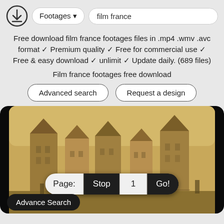[Figure (screenshot): Top navigation bar with download icon, Footages dropdown button, and film france search input]
Free download film france footages files in .mp4 .wmv .avc format ✓ Premium quality ✓ Free for commercial use ✓ Free & easy download ✓ unlimit ✓ Update daily. (689 files)
Film france footages free download
Advanced search
Request a design
[Figure (photo): Sepia-toned vintage film footage of French buildings/architecture with page navigation controls showing Page: Stop 1 Go! and Advance Search button overlaid]
Page: Stop 1 Go!
Advance Search